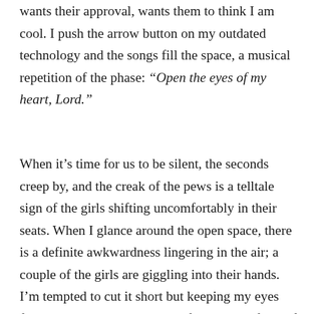wants their approval, wants them to think I am cool. I push the arrow button on my outdated technology and the songs fill the space, a musical repetition of the phase: “Open the eyes of my heart, Lord.”
When it’s time for us to be silent, the seconds creep by, and the creak of the pews is a telltale sign of the girls shifting uncomfortably in their seats. When I glance around the open space, there is a definite awkwardness lingering in the air; a couple of the girls are giggling into their hands. I’m tempted to cut it short but keeping my eyes focused on the rounded edge of the pew in front of me, I push forward with the plan.